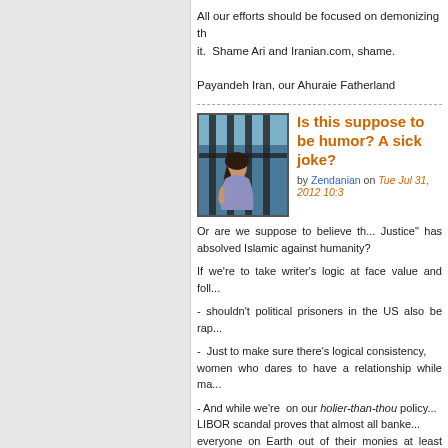All our efforts should be focused on demonizing th... it.  Shame Ari and Iranian.com, shame.
Payandeh Iran, our Ahuraie Fatherland
[Figure (illustration): Illustration of a woman behind prison bars, blue/teal tones]
Is this suppose to be humor? A sick joke?
by Zendanian on Tue Jul 31, 2012 10:3...
Or are we suppose to believe th... Justice" has absolved Islamic ... against humanity?
If we're to take writer's logic at face value and foll...
- shouldn't political prisoners in the US also be rap...
-  Just to make sure there's logical consistency, ... women who dares to have a relationship while ma...
- And while we're  on our holier-than-thou policy... LIBOR scandal proves that almost all banke... everyone on Earth out of their monies at least for...
Not sure about America's heart and mind, b... devastated by the "logic" in here.
P.S. Best way to control fraud in large financial i... gins,  Credit  Unions  and  Financial  Co...